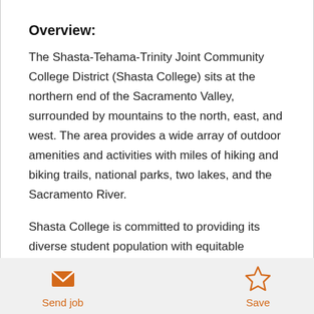Overview:
The Shasta-Tehama-Trinity Joint Community College District (Shasta College) sits at the northern end of the Sacramento Valley, surrounded by mountains to the north, east, and west. The area provides a wide array of outdoor amenities and activities with miles of hiking and biking trails, national parks, two lakes, and the Sacramento River.
Shasta College is committed to providing its diverse student population with equitable education
Send job | Save